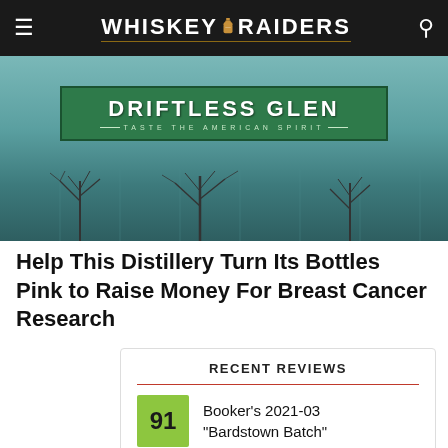WHISKEY RAIDERS
[Figure (photo): Exterior photo of Driftless Glen distillery building showing green sign with text 'DRIFTLESS GLEN - TASTE THE AMERICAN SPIRIT' with bare winter trees in front]
Help This Distillery Turn Its Bottles Pink to Raise Money For Breast Cancer Research
RECENT REVIEWS
91 Booker's 2021-03 "Bardstown Batch"